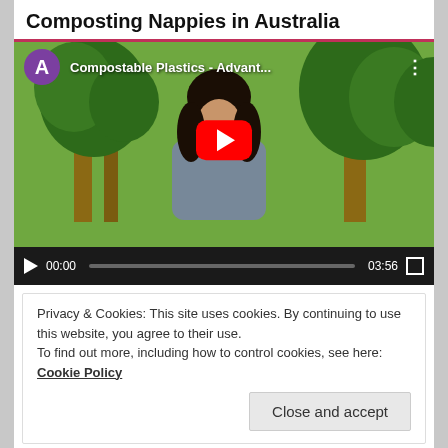Composting Nappies in Australia
[Figure (screenshot): YouTube video thumbnail showing a man with long dark hair and beard standing outdoors among trees. Video title shown is 'Compostable Plastics - Advant...' with a purple channel icon showing letter A. A red YouTube play button is centered on the thumbnail. Below is a video controls bar showing play button, time 00:00, progress bar, duration 03:56, and fullscreen button.]
Privacy & Cookies: This site uses cookies. By continuing to use this website, you agree to their use.
To find out more, including how to control cookies, see here: Cookie Policy
Close and accept
[Figure (illustration): Silhouette illustration on a green background showing the evolution of humans from hunched primate to upright walking figures, similar to the classic 'March of Progress' imagery.]